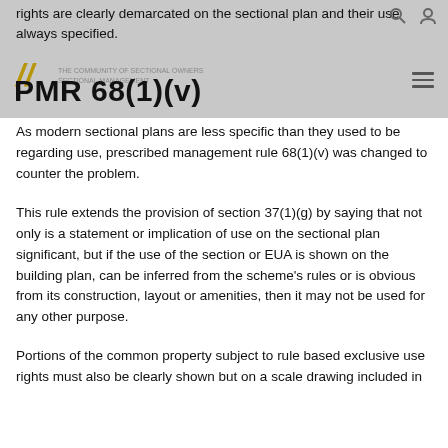rights are clearly demarcated on the sectional plan and their use always specified.
PMR 68(1)(v)
As modern sectional plans are less specific than they used to be regarding use, prescribed management rule 68(1)(v) was changed to counter the problem.
This rule extends the provision of section 37(1)(g) by saying that not only is a statement or implication of use on the sectional plan significant, but if the use of the section or EUA is shown on the building plan, can be inferred from the scheme's rules or is obvious from its construction, layout or amenities, then it may not be used for any other purpose.
Portions of the common property subject to rule based exclusive use rights must also be clearly shown but on a scale drawing included in